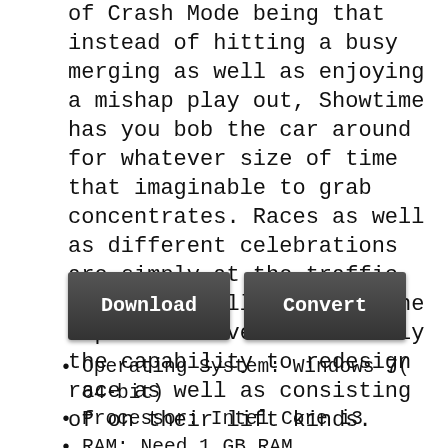of Crash Mode being that instead of hitting a busy merging as well as enjoying a mishap play out, Showtime has you bob the car around for whatever size of time that imaginable to grab concentrates. Races as well as different celebrations are simply at the traffic signal as well as using the representative concurrently the capability to redesign race as well as consisting of on their lift kinds.
[Figure (other): Two buttons: 'Download' (dark grey) and 'Convert' (dark grey)]
Operating System: Windows 7( 64-bit)
Processor: Intel Core i3
RAM: Need 1 GB RAM
Graphics Card: DirectX 9.0 c Compatible 3D increased 128